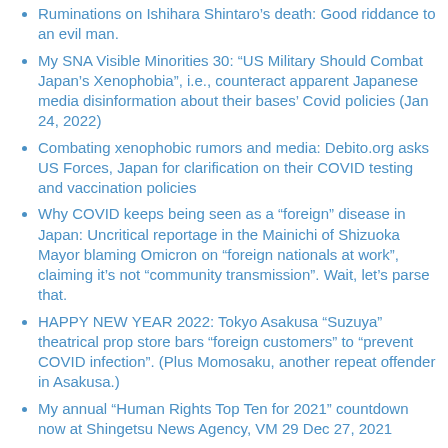Ruminations on Ishihara Shintaro's death: Good riddance to an evil man.
My SNA Visible Minorities 30: “US Military Should Combat Japan’s Xenophobia”, i.e., counteract apparent Japanese media disinformation about their bases’ Covid policies (Jan 24, 2022)
Combating xenophobic rumors and media: Debito.org asks US Forces, Japan for clarification on their COVID testing and vaccination policies
Why COVID keeps being seen as a “foreign” disease in Japan: Uncritical reportage in the Mainichi of Shizuoka Mayor blaming Omicron on “foreign nationals at work”, claiming it’s not “community transmission”. Wait, let’s parse that.
HAPPY NEW YEAR 2022: Tokyo Asakusa “Suzuya” theatrical prop store bars “foreign customers” to “prevent COVID infection”. (Plus Momosaku, another repeat offender in Asakusa.)
My annual “Human Rights Top Ten for 2021” countdown now at Shingetsu News Agency, VM 29 Dec 27, 2021
DEBITO.ORG NEWSLETTER DECEMBER 28, 2021: END YEAR SPECIAL